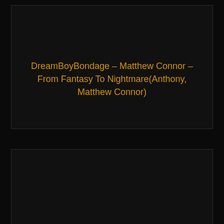[Figure (other): Dark thumbnail card with orange text title: DreamBoyBondage – Matthew Connor – From Fantasy To Nightmare(Anthony, Matthew Connor)]
[Figure (other): Second dark thumbnail card with no visible text, mostly black content area]